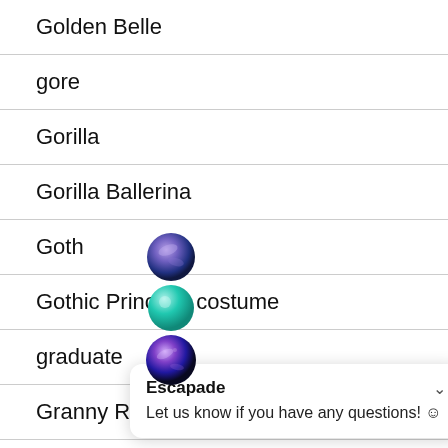Golden Belle
gore
Gorilla
Gorilla Ballerina
Goth
Gothic Princess costume
graduate
Granny Run M
Granny
[Figure (screenshot): Chat overlay widget with title 'Escapade' and message 'Let us know if you have any questions! :)' with a chevron/close button, plus three circular avatar icons stacked vertically.]